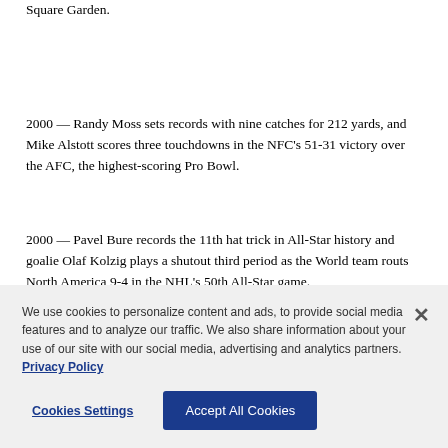Square Garden.
2000 — Randy Moss sets records with nine catches for 212 yards, and Mike Alstott scores three touchdowns in the NFC's 51-31 victory over the AFC, the highest-scoring Pro Bowl.
2000 — Pavel Bure records the 11th hat trick in All-Star history and goalie Olaf Kolzig plays a shutout third period as the World team routs North America 9-4 in the NHL's 50th All-Star game.
The New England Patriots...
We use cookies to personalize content and ads, to provide social media features and to analyze our traffic. We also share information about your use of our site with our social media, advertising and analytics partners. Privacy Policy